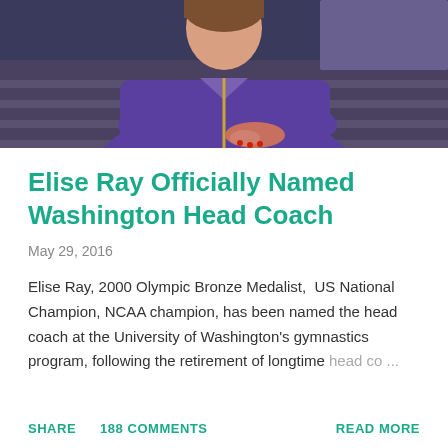[Figure (photo): Woman in purple University of Washington zip-up jacket sitting with hands clasped, photographed from torso up in an indoor setting with bleacher-like seating in the background.]
Elise Ray Officially Named Washington Head Coach
May 29, 2016
Elise Ray, 2000 Olympic Bronze Medalist,  US National Champion, NCAA champion, has been named the head coach at the University of Washington's gymnastics program, following the retirement of longtime head co...
SHARE   188 COMMENTS   READ MORE